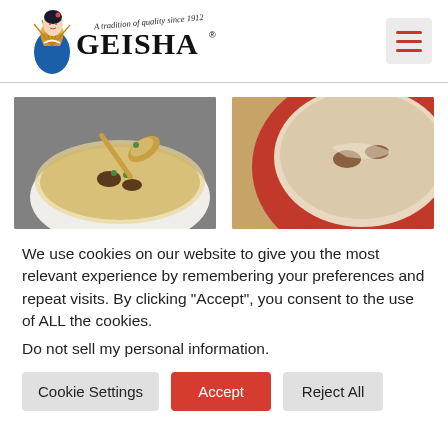[Figure (logo): Geisha brand logo with geisha illustration and text 'A tradition of quality since 1912']
[Figure (photo): Close-up of a gold spoon holding soup with mushrooms and green peas over a white bowl of soup]
[Figure (photo): Close-up of a red pot or bowl containing creamy soup with mushrooms]
We use cookies on our website to give you the most relevant experience by remembering your preferences and repeat visits. By clicking “Accept”, you consent to the use of ALL the cookies.
Do not sell my personal information.
Cookie Settings | Accept | Reject All